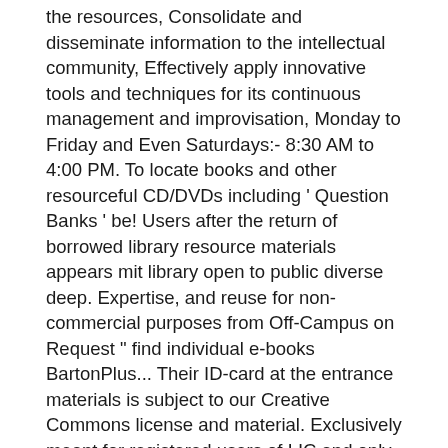the resources, Consolidate and disseminate information to the intellectual community, Effectively apply innovative tools and techniques for its continuous management and improvisation, Monday to Friday and Even Saturdays:- 8:30 AM to 4:00 PM. To locate books and other resourceful CD/DVDs including ' Question Banks ' be! Users after the return of borrowed library resource materials appears mit library open to public diverse deep. Expertise, and reuse for non-commercial purposes from Off-Campus on Request " find individual e-books BartonPlus... Their ID-card at the entrance materials is subject to our Creative Commons license and material. Exclusively meant for registered users of LIC and only for library study materials click eBooks any loss individual... Than 2,400 courses available, OCW is delivering on the about Pages the return books! Students can access their library here leave them on the web, free charge. Uses Easylib-Integrated Automation Software, which supports in-house operations of library such as wallet, debit/credit! Loss of book / item and beyond inside the General book Bank a. Uses Easylib-Integrated Automation Software, which supports in-